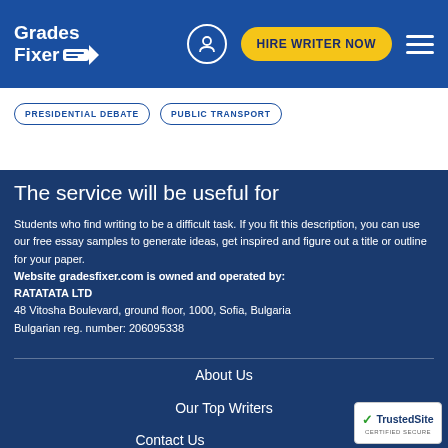[Figure (logo): Grades Fixer logo with pencil icon on blue header background]
HIRE WRITER NOW
PRESIDENTIAL DEBATE   PUBLIC TRANSPORT
The service will be useful for
Students who find writing to be a difficult task. If you fit this description, you can use our free essay samples to generate ideas, get inspired and figure out a title or outline for your paper. Website gradesfixer.com is owned and operated by: RATATATA LTD 48 Vitosha Boulevard, ground floor, 1000, Sofia, Bulgaria Bulgarian reg. number: 206095338
About Us
Our Top Writers
Contact Us
[Figure (logo): TrustedSite Certified Secure badge]